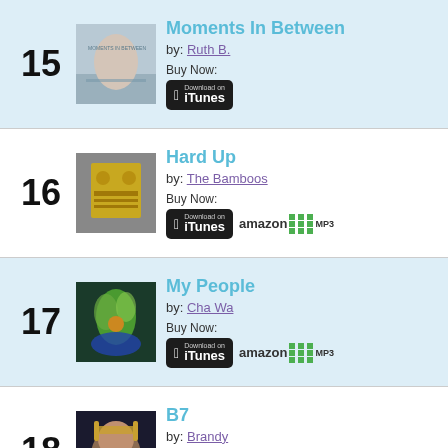15 - Moments In Between by Ruth B. - Buy Now: iTunes
16 - Hard Up by The Bamboos - Buy Now: iTunes, Amazon MP3
17 - My People by Cha Wa - Buy Now: iTunes, Amazon MP3
18 - B7 by Brandy - Buy Now: iTunes, Amazon MP3